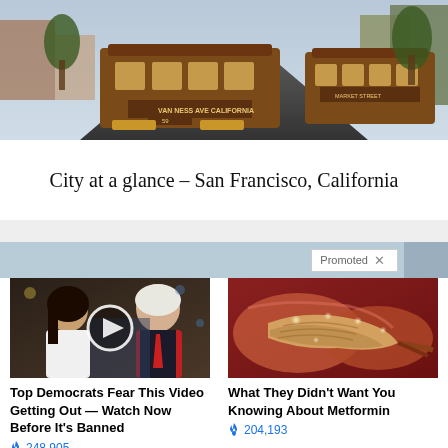[Figure (photo): San Francisco cable cars on a city street, two cable cars visible heading down a hill lined with buildings.]
City at a glance – San Francisco, California
Promoted X
[Figure (photo): Video thumbnail showing a man and woman, with a play button overlay. Related to a political video ad.]
Top Democrats Fear This Video Getting Out — Watch Now Before It's Banned
248,905
[Figure (photo): Medical illustration showing internal organ tissue, related to Metformin advertisement.]
What They Didn't Want You Knowing About Metformin
204,193